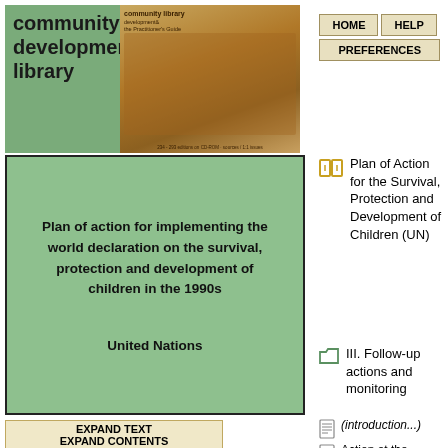[Figure (logo): Community Development Library logo with green block and book cover image]
HOME   HELP   PREFERENCES
[Figure (illustration): Book cover: Plan of action for implementing the world declaration on the survival, protection and development of children in the 1990s. United Nations. Shown on green background.]
Plan of Action for the Survival, Protection and Development of Children (UN)
III. Follow-up actions and monitoring
EXPAND TEXT
EXPAND CONTENTS
DETACH
HIGHLIGHTING
(introduction...)
Action at the national level